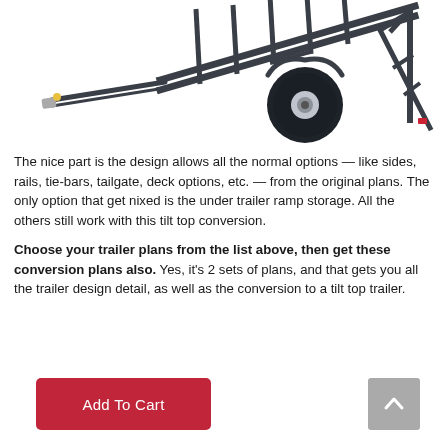[Figure (illustration): A dark grey/charcoal utility trailer with ladder rack frame, single axle with black tire and silver wheel hub, tongue extending to the left, tilted at an angle showing the top deck frame. Small red reflector visible at rear right corner.]
The nice part is the design allows all the normal options — like sides, rails, tie-bars, tailgate, deck options, etc. — from the original plans.  The only option that get nixed is the under trailer ramp storage.  All the others still work with this tilt top conversion.
Choose your trailer plans from the list above, then get these conversion plans also.  Yes, it's 2 sets of plans, and that gets you all the trailer design detail, as well as the conversion to a tilt top trailer.